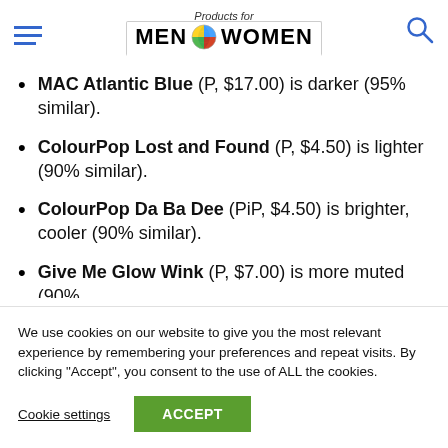Products for MEN WOMEN
MAC Atlantic Blue (P, $17.00) is darker (95% similar).
ColourPop Lost and Found (P, $4.50) is lighter (90% similar).
ColourPop Da Ba Dee (PiP, $4.50) is brighter, cooler (90% similar).
Give Me Glow Wink (P, $7.00) is more muted (90%
We use cookies on our website to give you the most relevant experience by remembering your preferences and repeat visits. By clicking “Accept”, you consent to the use of ALL the cookies.
Cookie settings  ACCEPT